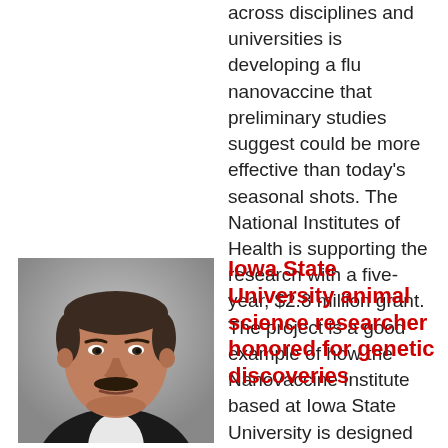across disciplines and universities is developing a flu nanovaccine that preliminary studies suggest could be more effective than today's seasonal shots. The National Institutes of Health is supporting the research with a five-year, $2.8 million grant. The project is a good example of how the Nanovaccine Institute based at Iowa State University is designed to work.
[Figure (photo): Portrait photo of a middle-aged man with a mustache wearing a dark suit and white shirt, gray background]
Iowa State University animal science researcher honored for genetic discoveries